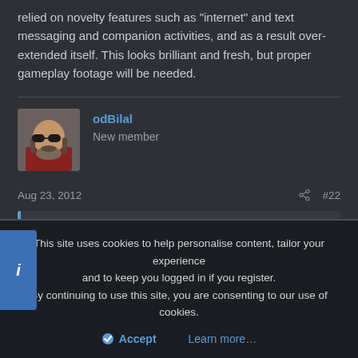relied on novelty features such as "internet" and text messaging and companion activities, and as a result over-extended itself. This looks brilliant and fresh, but proper gameplay footage will be needed.
odBilal
New member
Aug 23, 2012   #22
GenGenners said:
I'm gonna be the kill-joy here and point out that because of the old man console tech holding games back, GTA V will not be as good as it
This site uses cookies to help personalise content, tailor your experience and to keep you logged in if you register.
By continuing to use this site, you are consenting to our use of cookies.